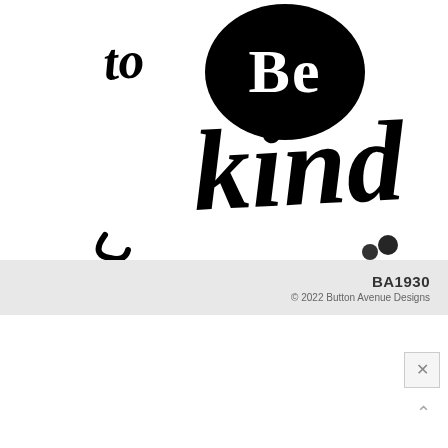[Figure (illustration): Black script lettering reading 'to be kind' where 'be' is displayed in white text inside a large black oval/circle shape. The words 'to' and 'kind' are in a handwritten cursive script style, all in black on white background.]
BA1930
© 2022 Button Avenue Designs